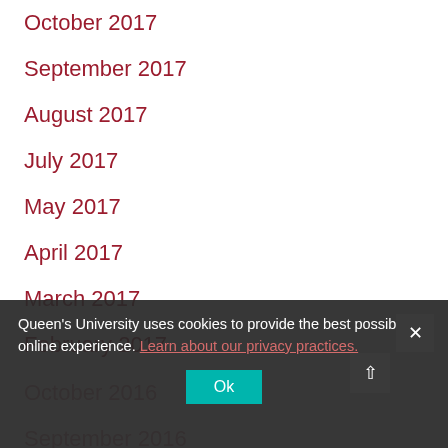October 2017
September 2017
August 2017
July 2017
May 2017
April 2017
March 2017
February 2017
January 2017
December 2016
November 2016
October 2016
September 2016
August 2016
Queen's University uses cookies to provide the best possible online experience. Learn about our privacy practices.
Ok